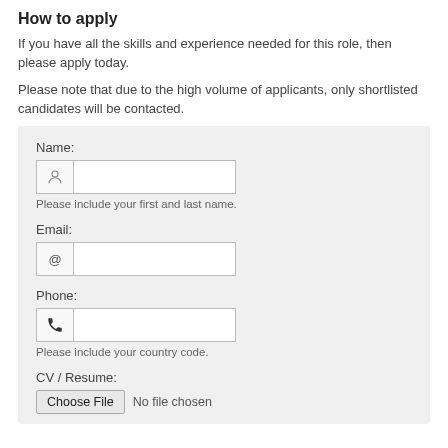How to apply
If you have all the skills and experience needed for this role, then please apply today.
Please note that due to the high volume of applicants, only shortlisted candidates will be contacted.
Name:
[input field with person icon]
Please include your first and last name.

Email:
[input field with @ icon]

Phone:
[input field with phone icon]
Please include your country code.

CV / Resume:
[Choose File] No file chosen